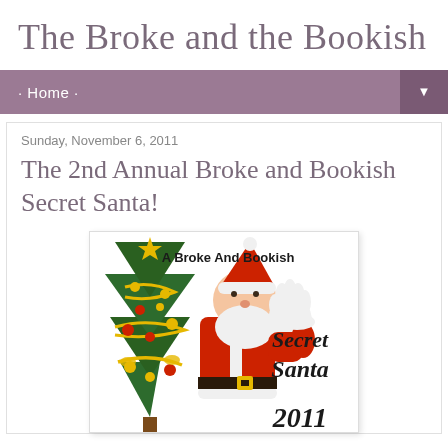The Broke and the Bookish
· Home ·
Sunday, November 6, 2011
The 2nd Annual Broke and Bookish Secret Santa!
[Figure (illustration): Promotional image for 'A Broke And Bookish Secret Santa 2011' featuring Santa Claus waving next to a decorated Christmas tree with gold ornaments and ribbons, with handwritten-style text reading 'A Broke And Bookish Secret Santa 2011']